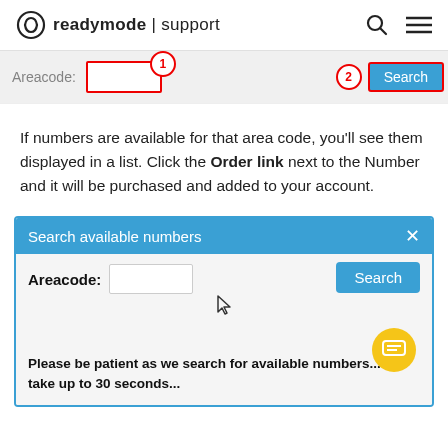readymode | support
[Figure (screenshot): Partial screenshot showing Areacode input field with red circle labeled 1, and a Search button with red circle labeled 2]
If numbers are available for that area code, you'll see them displayed in a list. Click the Order link next to the Number and it will be purchased and added to your account.
[Figure (screenshot): Search available numbers dialog with Areacode input field, Search button, cursor icon, chat bubble, and text: Please be patient as we search for available numbers... will take up to 30 seconds...]